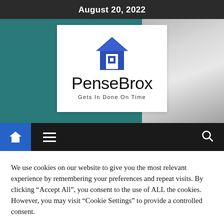August 20, 2022
[Figure (logo): PenseBrox logo: blue house icon with a square inside, brand name 'PenseBrox' and tagline 'Gets In Done On Time' on white background, set against a teal hero banner with a lamp photo on the right.]
[Figure (screenshot): Website navigation bar with blue home icon button, hamburger menu icon, and search icon on dark background.]
We use cookies on our website to give you the most relevant experience by remembering your preferences and repeat visits. By clicking “Accept All”, you consent to the use of ALL the cookies. However, you may visit "Cookie Settings" to provide a controlled consent.
Cookie Settings  Accept All